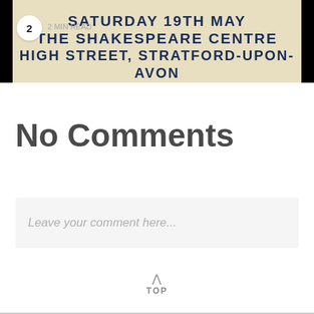[Figure (photo): Cropped image of a poster/sign on a beige background showing text: SATURDAY 19TH MAY / THE SHAKESPEARE CENTRE / HIGH STREET, STRATFORD-UPON-AVON. A notification badge showing '2' and a '2 MIN READ' label are overlaid on the image.]
No Comments
Leave your comment here...
TOP